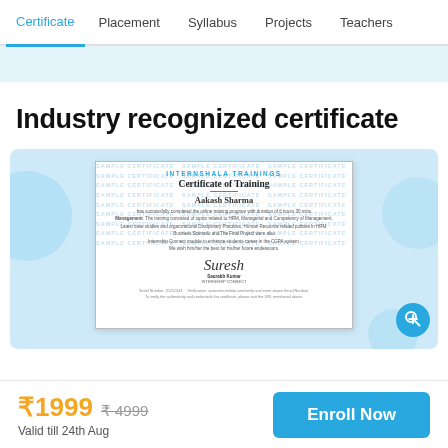Certificate   Placement   Syllabus   Projects   Teachers
Industry recognized certificate
[Figure (illustration): Sample certificate of training issued to Aakash Sharma, with watermark text 'SAMPLE CERTIFICATE' repeated across the background, a logo at top, signature area, and zoom button overlay. Set against a light blue background with decorative circles.]
₹1999  ₹4999
Valid till 24th Aug
Enroll Now